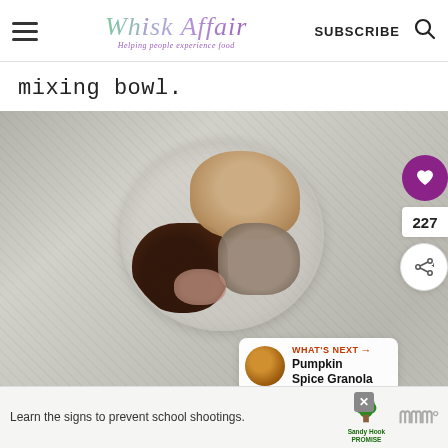Whisk Affair — Helping people experience food | SUBSCRIBE
mixing bowl.
[Figure (photo): Overhead view of a clear glass mixing bowl on a grey stone surface, containing several separate piles of different colored spices: dark brown/black, tan/beige, medium grey-brown, and pink/salmon colored spice powders. UI overlay shows a heart/like button, count of 227, share button, and a 'WHAT'S NEXT → Pumpkin Spice Granola' card.]
Learn the signs to prevent school shootings.